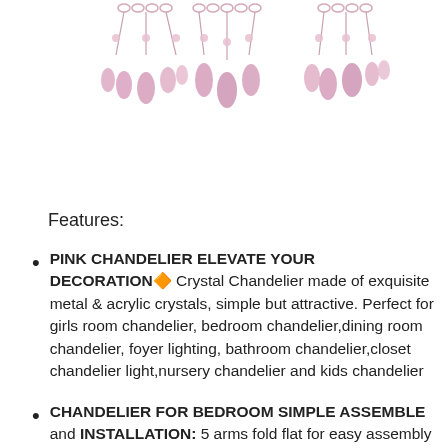[Figure (photo): Pink crystal chandelier shown from below with multiple arms, teardrop-shaped acrylic crystal pendants in light pink/rose color, metal chain links, showing three cluster views of the chandelier arms and hanging crystals.]
Features:
PINK CHANDELIER ELEVATE YOUR DECORATION🔶 Crystal Chandelier made of exquisite metal & acrylic crystals, simple but attractive. Perfect for girls room chandelier, bedroom chandelier,dining room chandelier, foyer lighting, bathroom chandelier,closet chandelier light,nursery chandelier and kids chandelier
CHANDELIER FOR BEDROOM SIMPLE ASSEMBLE and INSTALLATION: 5 arms fold flat for easy assembly and storage, and to reduce the risk of damage, simply unfold, connect a few crystals, and it is ready to hang. Pink light